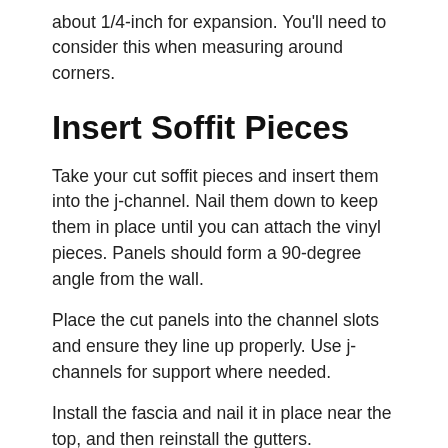about 1/4-inch for expansion. You'll need to consider this when measuring around corners.
Insert Soffit Pieces
Take your cut soffit pieces and insert them into the j-channel. Nail them down to keep them in place until you can attach the vinyl pieces. Panels should form a 90-degree angle from the wall.
Place the cut panels into the channel slots and ensure they line up properly. Use j-channels for support where needed.
Install the fascia and nail it in place near the top, and then reinstall the gutters.
Vinyl Soffit Installation Made E…